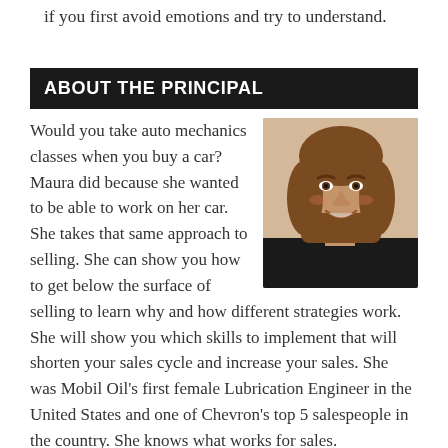if you first avoid emotions and try to understand.
ABOUT THE PRINCIPAL
Would you take auto mechanics classes when you buy a car? Maura did because she wanted to be able to work on her car. She takes that same approach to selling. She can show you how to get below the surface of selling to learn why and how different strategies work. She will show you which skills to implement that will shorten your sales cycle and increase your sales. She was Mobil Oil's first female Lubrication Engineer in the United States and one of Chevron's top 5 salespeople in the country. She knows what works for sales.
[Figure (photo): Headshot photo of a woman with brown shoulder-length hair, smiling, wearing a dark top.]